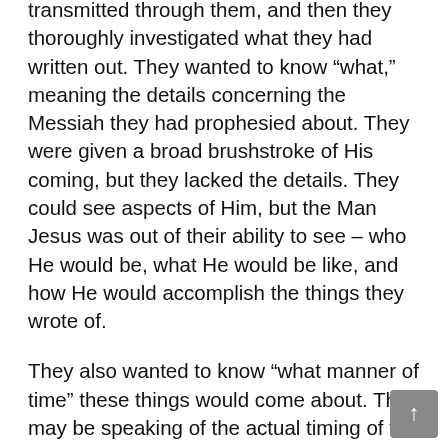transmitted through them, and then they thoroughly investigated what they had written out. They wanted to know “what,” meaning the details concerning the Messiah they had prophesied about. They were given a broad brushstroke of His coming, but they lacked the details. They could see aspects of Him, but the Man Jesus was out of their ability to see – who He would be, what He would be like, and how He would accomplish the things they wrote of.
They also wanted to know “what manner of time” these things would come about. This may be speaking of the actual timing of the coming of Messiah, but more probably it is speaking of the state of the world at the time of His coming. How could the things they wrote down be fulfilled? What would be the condition of the people who anticipated His coming. What would be the